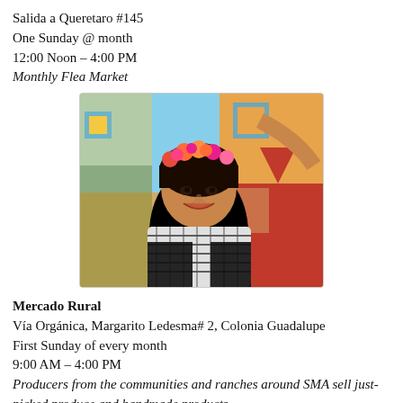Salida a Queretaro #145
One Sunday @ month
12:00 Noon – 4:00 PM
Monthly Flea Market
[Figure (photo): Woman smiling, wearing a flower crown with orange and pink flowers, a black and white patterned scarf, in front of a colorful mural.]
Mercado Rural
Vía Orgánica, Margarito Ledesma# 2, Colonia Guadalupe
First Sunday of every month
9:00 AM – 4:00 PM
Producers from the communities and ranches around SMA sell just-picked produce and handmade products